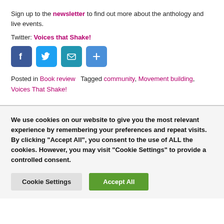Sign up to the newsletter to find out more about the anthology and live events.
Twitter: Voices that Shake!
[Figure (infographic): Four social sharing icon buttons: Facebook (blue), Twitter (light blue), Email (teal), and Share/Plus (blue)]
Posted in Book review   Tagged community, Movement building, Voices That Shake!
We use cookies on our website to give you the most relevant experience by remembering your preferences and repeat visits. By clicking "Accept All", you consent to the use of ALL the cookies. However, you may visit "Cookie Settings" to provide a controlled consent.